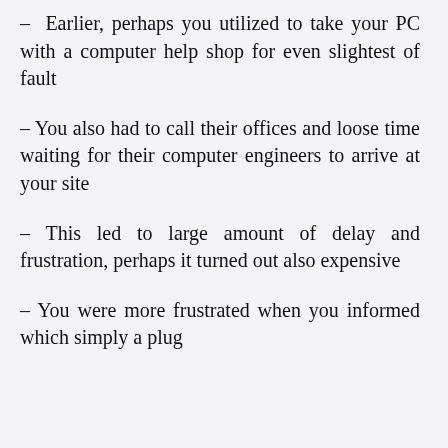– Earlier, perhaps you utilized to take your PC with a computer help shop for even slightest of fault
– You also had to call their offices and loose time waiting for their computer engineers to arrive at your site
– This led to large amount of delay and frustration, perhaps it turned out also expensive
– You were more frustrated when you informed which simply a plug